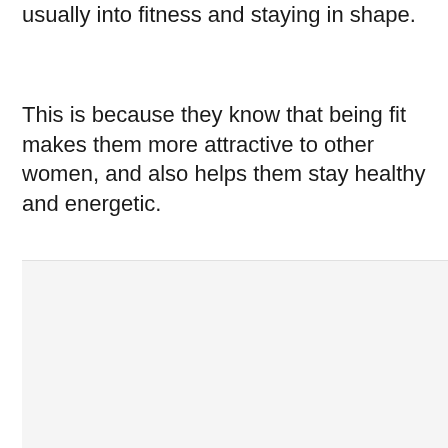usually into fitness and staying in shape.
This is because they know that being fit makes them more attractive to other women, and also helps them stay healthy and energetic.
[Figure (screenshot): Screenshot UI area showing a light gray image placeholder with a teal heart/favorite button, a white share button with a share icon, and a 'What's Next' card in the bottom right showing a thumbnail of a woman and text '12 Clear Signs He Doesn't...']